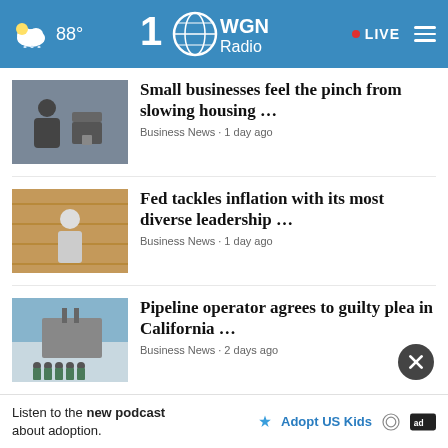WGN Radio 100 · 88° · LIVE
Small businesses feel the pinch from slowing housing …
Business News · 1 day ago
Fed tackles inflation with its most diverse leadership …
Business News · 1 day ago
Pipeline operator agrees to guilty plea in California …
Business News · 2 days ago
View All Business News ›
POLITICAL NEWS ›
'apology' to Republicans
Listen to the new podcast about adoption.